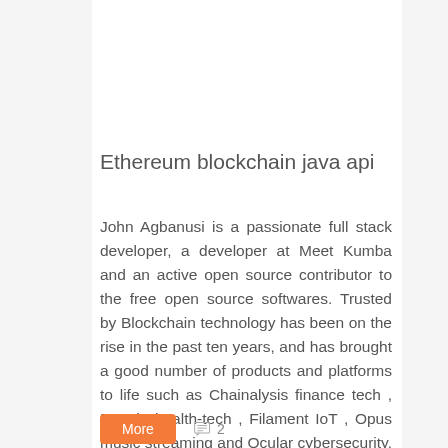Ethereum blockchain java api
John Agbanusi is a passionate full stack developer, a developer at Meet Kumba and an active open source contributor to the free open source softwares. Trusted by Blockchain technology has been on the rise in the past ten years, and has brought a good number of products and platforms to life such as Chainalysis finance tech , Burstiq health-tech , Filament IoT , Opus music streaming and Ocular cybersecurity. From these examples, we can see that blockchain cuts across many products and use cases - making it very essential and useful.
More
2